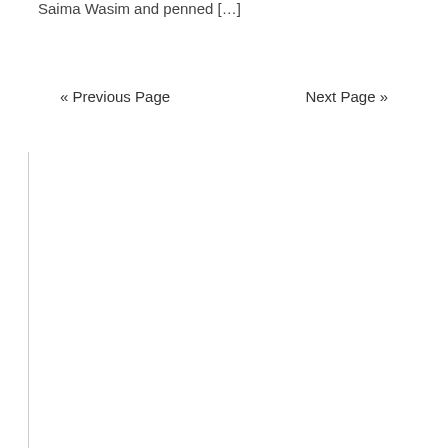Saima Wasim and penned […]
« Previous Page
Next Page »